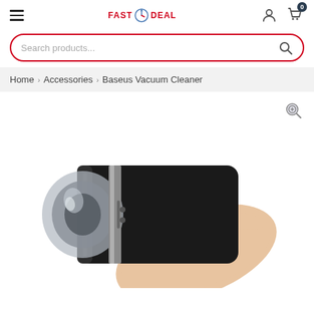[Figure (screenshot): E-commerce website header with hamburger menu, Fast Deal logo, user icon, and cart icon with badge showing 0]
[Figure (screenshot): Search bar with red border, placeholder text 'Search products...' and search magnifier icon]
Home > Accessories > Baseus Vacuum Cleaner
[Figure (photo): Hand holding a black cylindrical Baseus handheld vacuum cleaner with transparent suction head, on white background. A zoom magnifier icon appears in the top right of the product area.]